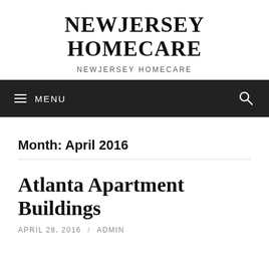NEWJERSEY HOMECARE
NEWJERSEY HOMECARE
≡ MENU
Month: April 2016
Atlanta Apartment Buildings
APRIL 28, 2016 / ADMIN